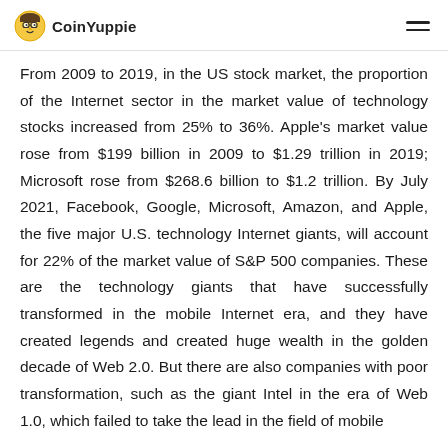CoinYuppie
From 2009 to 2019, in the US stock market, the proportion of the Internet sector in the market value of technology stocks increased from 25% to 36%. Apple's market value rose from $199 billion in 2009 to $1.29 trillion in 2019; Microsoft rose from $268.6 billion to $1.2 trillion. By July 2021, Facebook, Google, Microsoft, Amazon, and Apple, the five major U.S. technology Internet giants, will account for 22% of the market value of S&P 500 companies. These are the technology giants that have successfully transformed in the mobile Internet era, and they have created legends and created huge wealth in the golden decade of Web 2.0. But there are also companies with poor transformation, such as the giant Intel in the era of Web 1.0, which failed to take the lead in the field of mobile